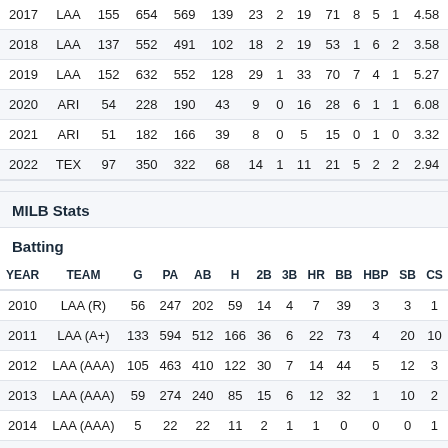| YEAR | TEAM | G | PA | AB | H | 2B | 3B | HR | BB | HBP | SB | CS |  |
| --- | --- | --- | --- | --- | --- | --- | --- | --- | --- | --- | --- | --- | --- |
| 2017 | LAA | 155 | 654 | 569 | 139 | 23 | 2 | 19 | 71 | 8 | 5 | 1 | 4.58 |
| 2018 | LAA | 137 | 552 | 491 | 102 | 18 | 2 | 19 | 53 | 1 | 6 | 2 | 3.58 |
| 2019 | LAA | 152 | 632 | 552 | 128 | 29 | 1 | 33 | 70 | 7 | 4 | 1 | 5.27 |
| 2020 | ARI | 54 | 228 | 190 | 43 | 9 | 0 | 16 | 28 | 6 | 1 | 1 | 6.08 |
| 2021 | ARI | 51 | 182 | 166 | 39 | 8 | 0 | 5 | 15 | 0 | 1 | 0 | 3.32 |
| 2022 | TEX | 97 | 350 | 322 | 68 | 14 | 1 | 11 | 21 | 5 | 2 | 2 | 2.94 |
MILB Stats
Batting
| YEAR | TEAM | G | PA | AB | H | 2B | 3B | HR | BB | HBP | SB | CS |
| --- | --- | --- | --- | --- | --- | --- | --- | --- | --- | --- | --- | --- |
| 2010 | LAA (R) | 56 | 247 | 202 | 59 | 14 | 4 | 7 | 39 | 3 | 3 | 1 |
| 2011 | LAA (A+) | 133 | 594 | 512 | 166 | 36 | 6 | 22 | 73 | 4 | 20 | 10 |
| 2012 | LAA (AAA) | 105 | 463 | 410 | 122 | 30 | 7 | 14 | 44 | 5 | 12 | 3 |
| 2013 | LAA (AAA) | 59 | 274 | 240 | 85 | 15 | 6 | 12 | 32 | 1 | 10 | 2 |
| 2014 | LAA (AAA) | 5 | 22 | 22 | 11 | 2 | 1 | 1 | 0 | 0 | 0 | 1 |
| 2018 | LAA (AAA) | 5 | 20 | 19 | 6 | 1 | 1 | 1 | 1 | 0 | 0 | 0 |